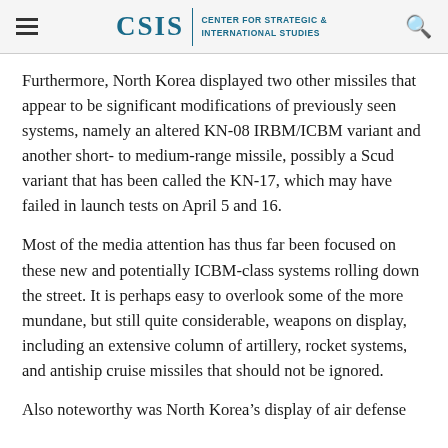CSIS | CENTER FOR STRATEGIC & INTERNATIONAL STUDIES
Furthermore, North Korea displayed two other missiles that appear to be significant modifications of previously seen systems, namely an altered KN-08 IRBM/ICBM variant and another short- to medium-range missile, possibly a Scud variant that has been called the KN-17, which may have failed in launch tests on April 5 and 16.
Most of the media attention has thus far been focused on these new and potentially ICBM-class systems rolling down the street. It is perhaps easy to overlook some of the more mundane, but still quite considerable, weapons on display, including an extensive column of artillery, rocket systems, and antiship cruise missiles that should not be ignored.
Also noteworthy was North Korea's display of air defense